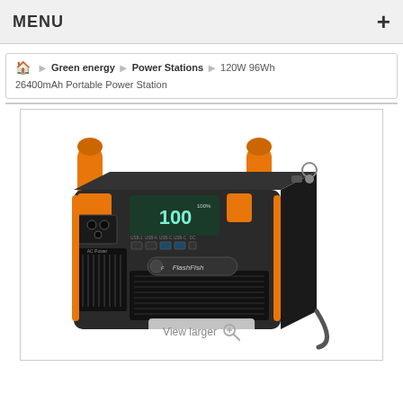MENU +
Green energy > Power Stations > 120W 96Wh > 26400mAh Portable Power Station
[Figure (photo): FlashFish branded portable power station with orange handles and straps, black body, digital display, AC outlet, USB ports, on white background. 'View larger' magnifier overlay at bottom.]